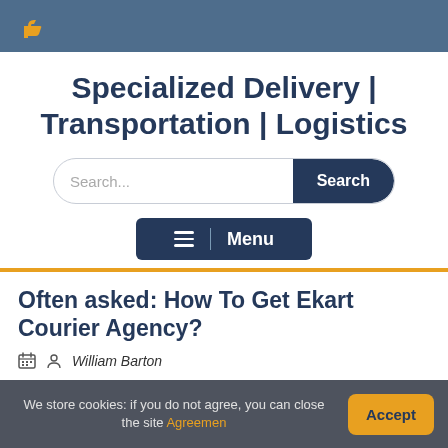Specialized Delivery | Transportation | Logistics
Search...
Menu
Often asked: How To Get Ekart Courier Agency?
William Barton
We store cookies: if you do not agree, you can close the site Agreemen